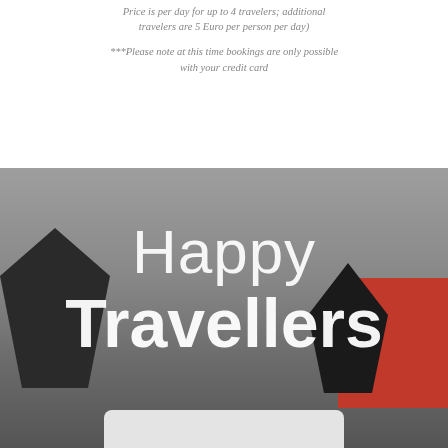Price is per day for up to 4 travelers; additional travelers are 5 Euro per person per day)
***Please note at this time bookings are only possible with your credit card
[Figure (photo): Outdoor winter scene photo with grey sky, dark tree silhouettes on left and right, a red building element on the bottom right. Large white bold text overlay reads 'Happy Travellers'. A light grey rounded card appears at the bottom center.]